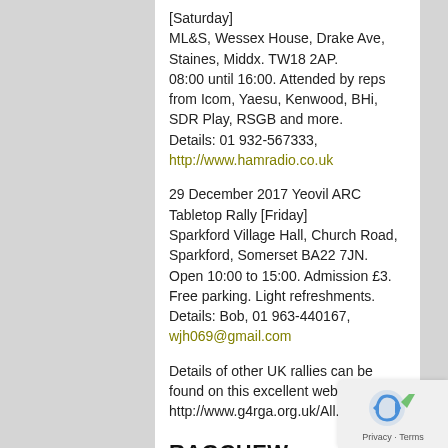[Saturday]
ML&S, Wessex House, Drake Ave, Staines, Middx. TW18 2AP.
08:00 until 16:00. Attended by reps from Icom, Yaesu, Kenwood, BHi, SDR Play, RSGB and more.
Details: 01 932-567333, http://www.hamradio.co.uk
29 December 2017 Yeovil ARC Tabletop Rally [Friday]
Sparkford Village Hall, Church Road, Sparkford, Somerset BA22 7JN.
Open 10:00 to 15:00. Admission £3. Free parking. Light refreshments.
Details: Bob, 01 963-440167, wjh069@gmail.com
Details of other UK rallies can be found on this excellent website: http://www.g4rga.org.uk/All.html
RAGCHEW
Autumn 2017 edition published – http://www.wadarc.org.uk/ragchew/autumn-2017-ragchew